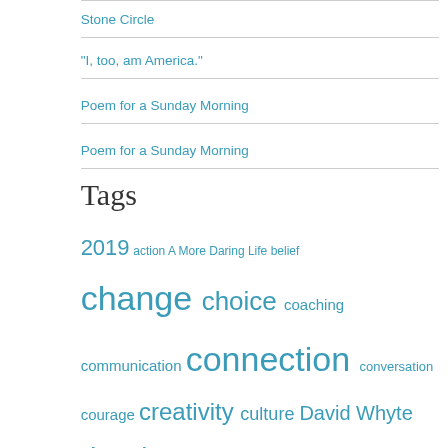Stone Circle
“I, too, am America.”
Poem for a Sunday Morning
Poem for a Sunday Morning
Tags
2019 action A More Daring Life belief change choice coaching communication connection conversation courage creativity culture David Whyte development edge energy engagement forest